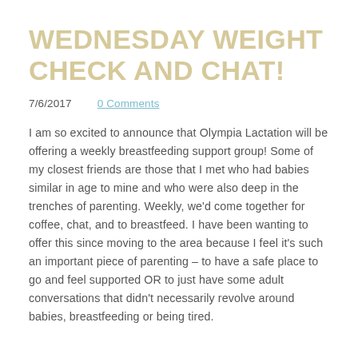WEDNESDAY WEIGHT CHECK AND CHAT!
7/6/2017      0 Comments
I am so excited to announce that Olympia Lactation will be offering a weekly breastfeeding support group! Some of my closest friends are those that I met who had babies similar in age to mine and who were also deep in the trenches of parenting. Weekly, we'd come together for coffee, chat, and to breastfeed. I have been wanting to offer this since moving to the area because I feel it’s such an important piece of parenting – to have a safe place to go and feel supported OR to just have some adult conversations that didn't necessarily revolve around babies, breastfeeding or being tired.